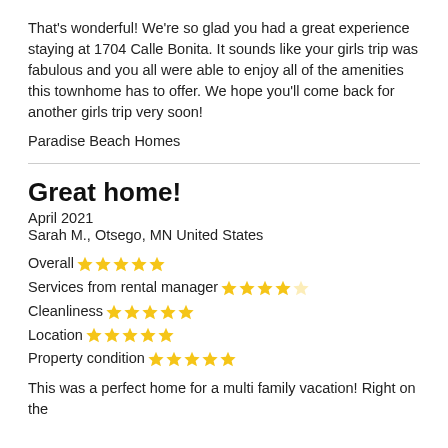That's wonderful! We're so glad you had a great experience staying at 1704 Calle Bonita. It sounds like your girls trip was fabulous and you all were able to enjoy all of the amenities this townhome has to offer. We hope you'll come back for another girls trip very soon!
Paradise Beach Homes
Great home!
April 2021
Sarah M., Otsego, MN United States
Overall ★★★★★
Services from rental manager ★★★★☆
Cleanliness ★★★★★
Location ★★★★★
Property condition ★★★★★
This was a perfect home for a multi family vacation! Right on the